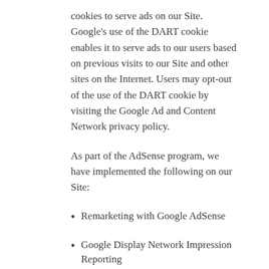cookies to serve ads on our Site. Google's use of the DART cookie enables it to serve ads to our users based on previous visits to our Site and other sites on the Internet. Users may opt-out of the use of the DART cookie by visiting the Google Ad and Content Network privacy policy.
As part of the AdSense program, we have implemented the following on our Site:
Remarketing with Google AdSense
Google Display Network Impression Reporting
Demographics and Interests Reporting
DoubleClick Platform Integration
You can set preferences for how Google advertises